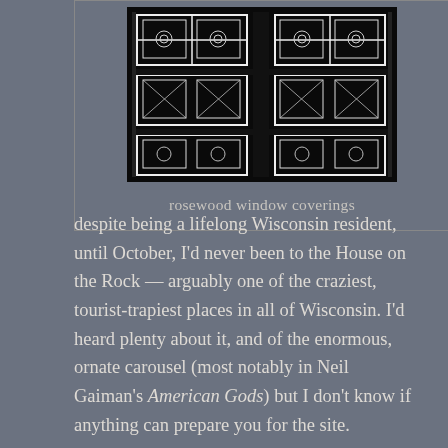[Figure (photo): Black and white photo of ornate rosewood window coverings with intricate carved lattice patterns in geometric and floral designs]
rosewood window coverings
despite being a lifelong Wisconsin resident, until October, I'd never been to the House on the Rock — arguably one of the craziest, tourist-trapiest places in all of Wisconsin. I'd heard plenty about it, and of the enormous, ornate carousel (most notably in Neil Gaiman's American Gods) but I don't know if anything can prepare you for the site.